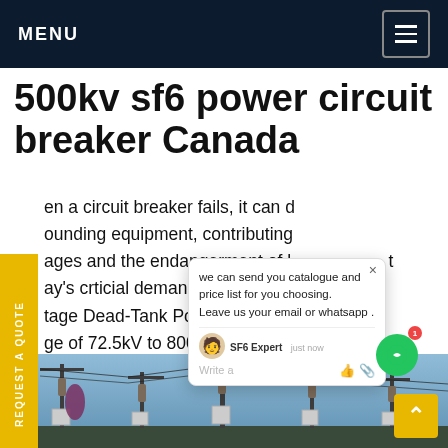MENU
500kv sf6 power circuit breaker Canada
en a circuit breaker fails, it can d ounding equipment, contributing ages and the endangerment of l ay's crticial demands Mitsubishi E tage Dead-Tank Power Circuit Br er a ge of 72.5kV to 800kV with interr es nning 40kA to 80kA.Get price
[Figure (screenshot): Chat popup overlay showing: 'we can send you catalogue and price list for you choosing. Leave us your email or whatsapp.' with SF6 Expert agent, just now timestamp, and write/like/attach icons. Green chat button with badge '1' to the right.]
[Figure (photo): Outdoor electrical substation photo showing high-voltage SF6 circuit breakers, insulators, and transmission line structures against a blue sky.]